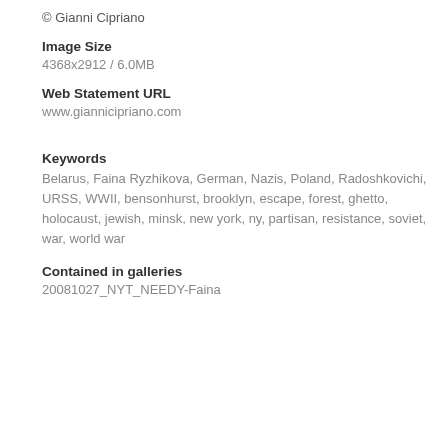© Gianni Cipriano
Image Size
4368x2912 / 6.0MB
Web Statement URL
www.giannicipriano.com
Keywords
Belarus, Faina Ryzhikova, German, Nazis, Poland, Radoshkovichi, URSS, WWII, bensonhurst, brooklyn, escape, forest, ghetto, holocaust, jewish, minsk, new york, ny, partisan, resistance, soviet, war, world war
Contained in galleries
20081027_NYT_NEEDY-Faina